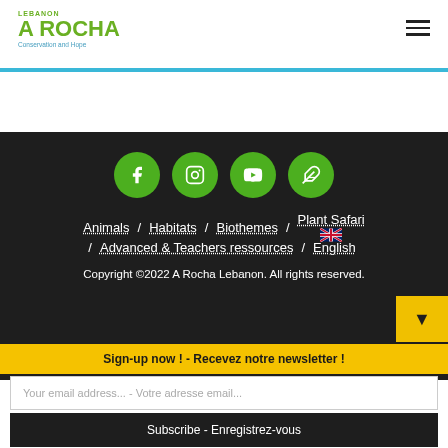[Figure (logo): A Rocha Lebanon logo - Conservation and Hope, green text with teal tagline]
[Figure (other): Hamburger menu icon, three horizontal lines]
[Figure (other): Blue horizontal divider bar]
[Figure (other): Four green circular social media icons: Facebook, Instagram, YouTube, and a feather/blog icon]
Animals / Habitats / Biothemes / Plant Safari / Advanced & Teachers ressources / English
Copyright ©2022 A Rocha Lebanon. All rights reserved.
Sign-up now ! - Recevez notre newsletter !
Your email address... - Votre adresse email...
Subscribe - Enregistrez-vous